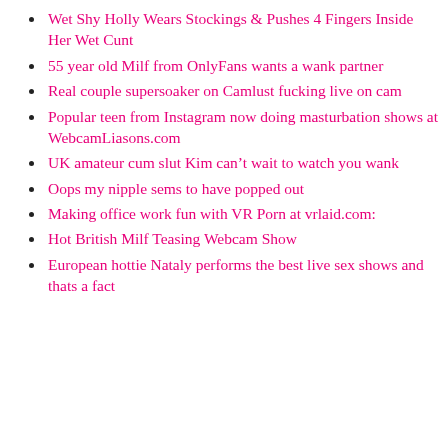Wet Shy Holly Wears Stockings & Pushes 4 Fingers Inside Her Wet Cunt
55 year old Milf from OnlyFans wants a wank partner
Real couple supersoaker on Camlust fucking live on cam
Popular teen from Instagram now doing masturbation shows at WebcamLiasons.com
UK amateur cum slut Kim can't wait to watch you wank
Oops my nipple sems to have popped out
Making office work fun with VR Porn at vrlaid.com:
Hot British Milf Teasing Webcam Show
European hottie Nataly performs the best live sex shows and thats a fact